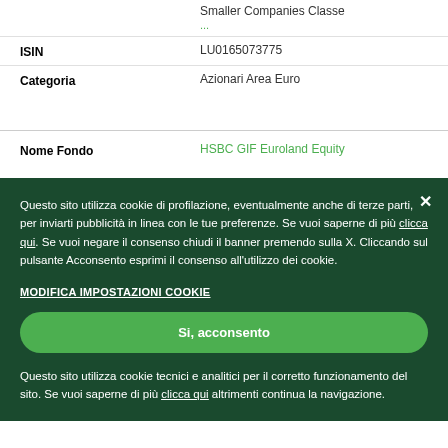| Field | Value |
| --- | --- |
|  | Smaller Companies Classe ... |
| ISIN | LU0165073775 |
| Categoria | Azionari Area Euro |
| Nome Fondo | HSBC GIF Euroland Equity |
Questo sito utilizza cookie di profilazione, eventualmente anche di terze parti, per inviarti pubblicità in linea con le tue preferenze. Se vuoi saperne di più clicca qui. Se vuoi negare il consenso chiudi il banner premendo sulla X. Cliccando sul pulsante Acconsento esprimi il consenso all'utilizzo dei cookie.
MODIFICA IMPOSTAZIONI COOKIE
Si, acconsento
Questo sito utilizza cookie tecnici e analitici per il corretto funzionamento del sito. Se vuoi saperne di più clicca qui altrimenti continua la navigazione.